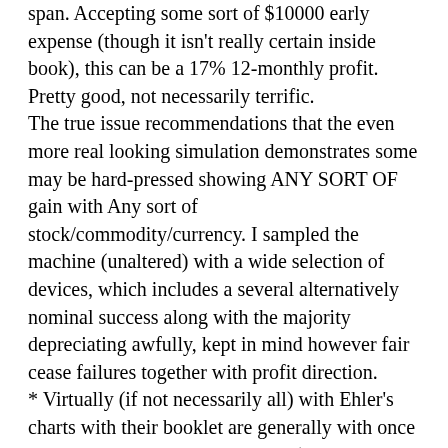span. Accepting some sort of $10000 early expense (though it isn't really certain inside book), this can be a 17% 12-monthly profit. Pretty good, not necessarily terrific.
The true issue recommendations that the even more real looking simulation demonstrates some may be hard-pressed showing ANY SORT OF gain with Any sort of stock/commodity/currency. I sampled the machine (unaltered) with a wide selection of devices, which includes a several alternatively nominal success along with the majority depreciating awfully, kept in mind however fair cease failures together with profit direction.
* Virtually (if not necessarily all) with Ehler's charts with their booklet are generally with once selection: especially that US96H (March 1996 Treasury Connection contracts). I have already been capable to replicate the different charts with their booklet with the INDICATORs: which means that there is